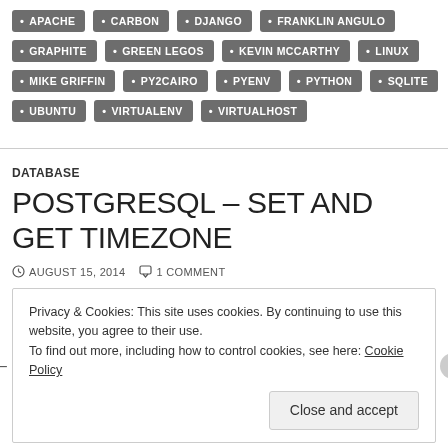APACHE
CARBON
DJANGO
FRANKLIN ANGULO
GRAPHITE
GREEN LEGOS
KEVIN MCCARTHY
LINUX
MIKE GRIFFIN
PY2CAIRO
PYENV
PYTHON
SQLITE
UBUNTU
VIRTUALENV
VIRTUALHOST
DATABASE
POSTGRESQL – SET AND GET TIMEZONE
AUGUST 15, 2014   1 COMMENT
Privacy & Cookies: This site uses cookies. By continuing to use this website, you agree to their use.
To find out more, including how to control cookies, see here: Cookie Policy